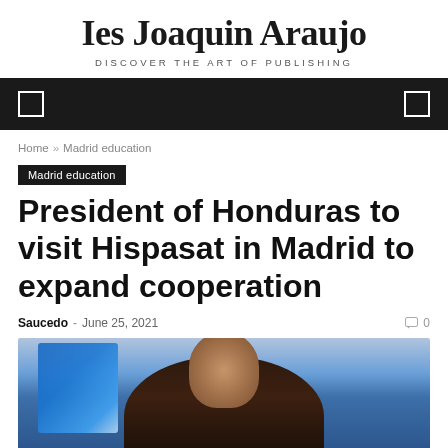Ies Joaquin Araujo
DISCOVER THE ART OF PUBLISHING
Home / Madrid education
Madrid education
President of Honduras to visit Hispasat in Madrid to expand cooperation
Saucedo - June 25, 2021 · 0
[Figure (photo): Photo of a person, likely the President of Honduras, with a blue flag visible in the background]